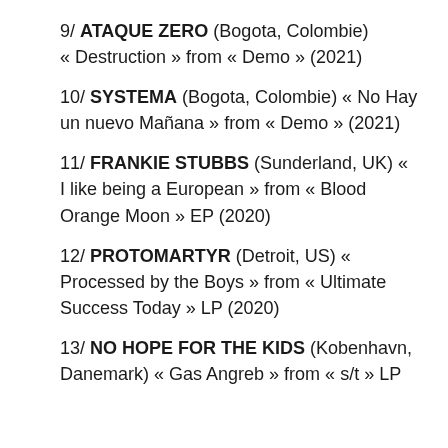9/ ATAQUE ZERO (Bogota, Colombie) « Destruction » from « Demo » (2021)
10/ SYSTEMA (Bogota, Colombie) « No Hay un nuevo Mañana » from « Demo » (2021)
11/ FRANKIE STUBBS (Sunderland, UK) « I like being a European » from « Blood Orange Moon » EP (2020)
12/ PROTOMARTYR (Detroit, US) « Processed by the Boys » from « Ultimate Success Today » LP (2020)
13/ NO HOPE FOR THE KIDS (Kobenhavn, Danemark) « Gas Angreb » from « s/t » LP